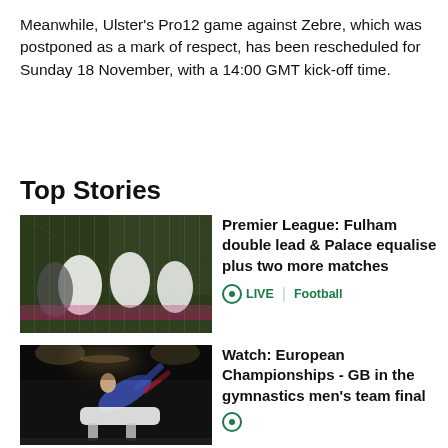Meanwhile, Ulster's Pro12 game against Zebre, which was postponed as a mark of respect, has been rescheduled for Sunday 18 November, with a 14:00 GMT kick-off time.
Top Stories
[Figure (photo): Football players in white Fulham jerseys celebrating near a goal net]
Premier League: Fulham double lead & Palace equalise plus two more matches
LIVE | Football
[Figure (photo): Gymnast performing on pommel horse at a dark arena during European Championships]
Watch: European Championships - GB in the gymnastics men's team final